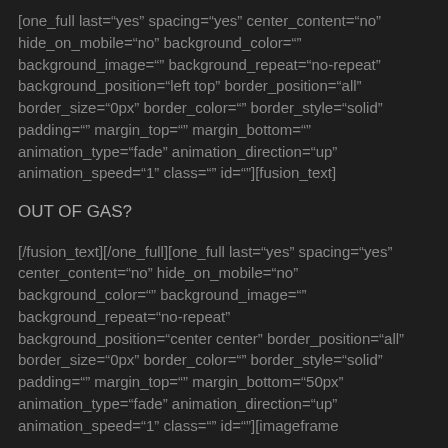[one_full last="yes" spacing="yes" center_content="no" hide_on_mobile="no" background_color="" background_image="" background_repeat="no-repeat" background_position="left top" border_position="all" border_size="0px" border_color="" border_style="solid" padding="" margin_top="" margin_bottom="" animation_type="fade" animation_direction="up" animation_speed="1" class="" id=""][fusion_text]
OUT OF GAS?
[/fusion_text][/one_full][one_full last="yes" spacing="yes" center_content="no" hide_on_mobile="no" background_color="" background_image="" background_repeat="no-repeat" background_position="center center" border_position="all" border_size="0px" border_color="" border_style="solid" padding="" margin_top="" margin_bottom="50px" animation_type="fade" animation_direction="up" animation_speed="1" class="" id=""][imageframe